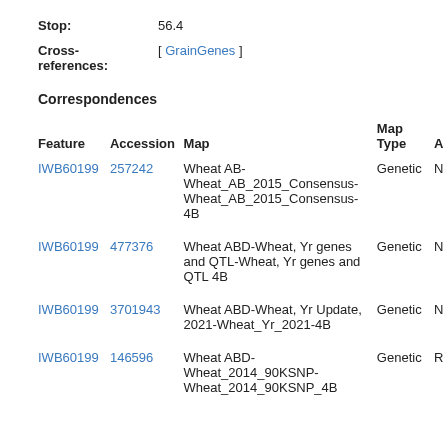Stop: 56.4
Cross-references: [ GrainGenes ]
Correspondences
| Feature | Accession | Map | Map Type | A |
| --- | --- | --- | --- | --- |
| IWB60199 | 257242 | Wheat AB-Wheat_AB_2015_Consensus-Wheat_AB_2015_Consensus-4B | Genetic | N |
| IWB60199 | 477376 | Wheat ABD-Wheat, Yr genes and QTL-Wheat, Yr genes and QTL 4B | Genetic | N |
| IWB60199 | 3701943 | Wheat ABD-Wheat, Yr Update, 2021-Wheat_Yr_2021-4B | Genetic | N |
| IWB60199 | 146596 | Wheat ABD-Wheat_2014_90KSNP-Wheat_2014_90KSNP_4B | Genetic | R |